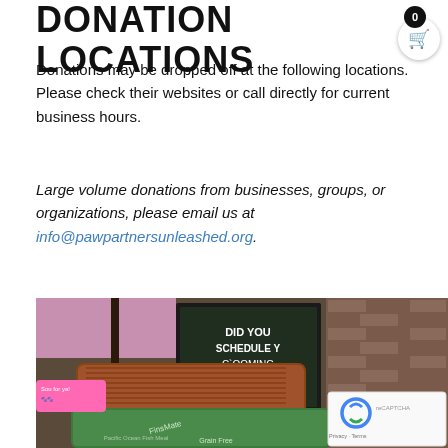DONATION LOCATIONS
Donations may be dropped off at the following locations. Please check their websites or call directly for current business hours.
Large volume donations from businesses, groups, or organizations, please email us at info@pawpartnersunleashed.org.
[Figure (photo): Photo of pet food donation bags (FinsMate brand) stacked in a pet store with a chalkboard sign reading 'DID YOU SCHEDULE YOUR GROOMING' and various store displays in the background. A reCAPTCHA widget is overlaid in the bottom right corner.]